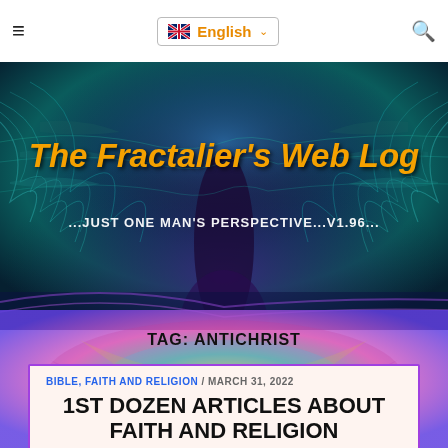≡   English   🔍
[Figure (illustration): Fractal art banner with teal/blue/purple colorful fractal pattern. Large bold italic orange text reading 'The Fractalier's Web Log' and white subtitle '...JUST ONE MAN'S PERSPECTIVE...V1.96...']
TAG: ANTICHRIST
BIBLE, FAITH AND RELIGION / MARCH 31, 2022
1ST DOZEN ARTICLES ABOUT FAITH AND RELIGION
Doctor Stella Immanuel — Why We Cannot Win a